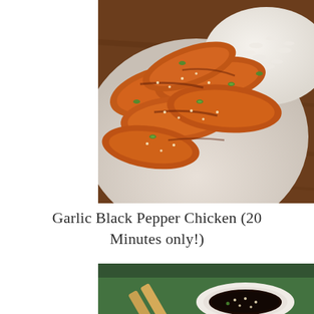[Figure (photo): Close-up photo of glazed garlic black pepper chicken pieces garnished with sesame seeds and sliced green onions, served on a white plate with white rice visible in the background, on a dark wooden table.]
Garlic Black Pepper Chicken (20 Minutes only!)
[Figure (photo): Close-up photo showing chopsticks resting on a green plate next to a small white dipping bowl filled with dark soy sauce sprinkled with sesame seeds.]